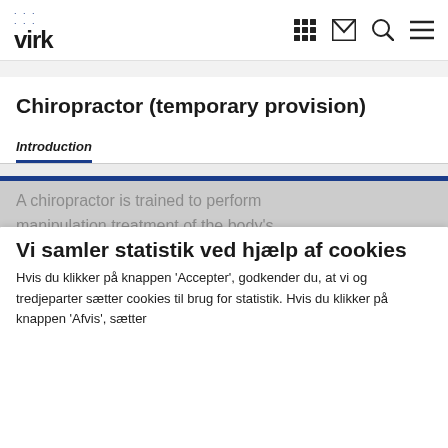virk
Chiropractor (temporary provision)
Introduction
A chiropractor is trained to perform manipulation treatment of the body's peripheral joints and soft tissue treatment
Vi samler statistik ved hjælp af cookies
Hvis du klikker på knappen 'Accepter', godkender du, at vi og tredjeparter sætter cookies til brug for statistik. Hvis du klikker på knappen 'Afvis', sætter